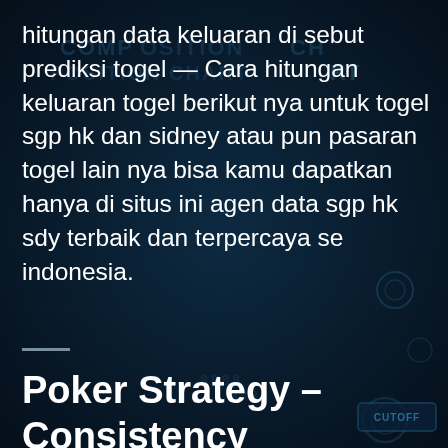hitungan data keluaran di sebut prediksi togel — Cara hitungan keluaran togel berikut nya untuk togel sgp hk dan sidney atau pun pasaran togel lain nya bisa kamu dapatkan hanya di situs ini agen data sgp hk sdy terbaik dan terpercaya se indonesia.
Poker Strategy – Consistency